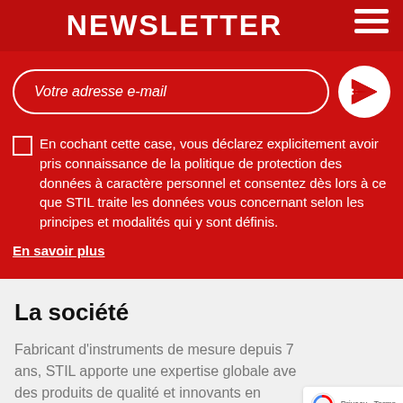NEWSLETTER
Votre adresse e-mail
En cochant cette case, vous déclarez explicitement avoir pris connaissance de la politique de protection des données à caractère personnel et consentez dès lors à ce que STIL traite les données vous concernant selon les principes et modalités qui y sont définis.
En savoir plus
La société
Fabricant d'instruments de mesure depuis 7 ans, STIL apporte une expertise globale avec des produits de qualité et innovants en